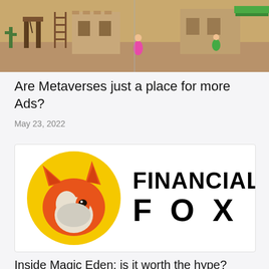[Figure (screenshot): Top portion of a metaverse game scene showing desert-themed virtual world with buildings, cacti, and characters]
Are Metaverses just a place for more Ads?
May 23, 2022
[Figure (logo): Financial Fox logo: orange fox head on yellow circle beside bold text FINANCIAL FOX]
Inside Magic Eden: is it worth the hype?